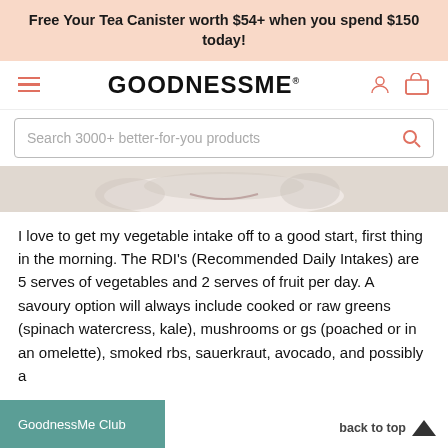Free Your Tea Canister worth $54+ when you spend $150 today!
[Figure (logo): GoodnessMe logo with hamburger menu icon and cart/account icons]
Search 3000+ better-for-you products
[Figure (photo): Partial image strip showing a smiling face and food items on a light background]
I love to get my vegetable intake off to a good start, first thing in the morning. The RDI's (Recommended Daily Intakes) are 5 serves of vegetables and 2 serves of fruit per day. A savoury option will always include cooked or raw greens (spinach watercress, kale), mushrooms or gs (poached or in an omelette), smoked rbs, sauerkraut, avocado, and possibly a
GoodnessMe Club | back to top